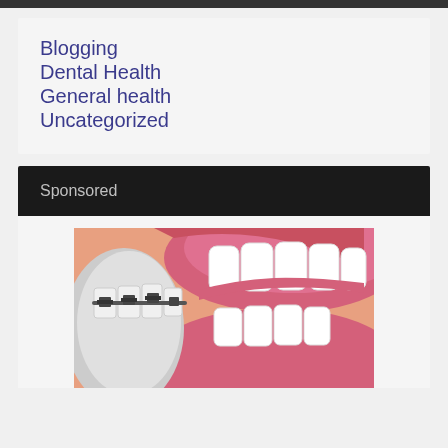Blogging
Dental Health
General health
Uncategorized
Sponsored
[Figure (photo): Close-up dental illustration showing orthodontic braces on lower teeth and white upper teeth with pink gums, side profile view]